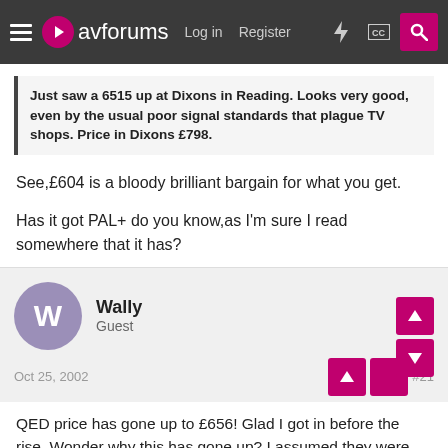avforums — Log in  Register
Just saw a 6515 up at Dixons in Reading. Looks very good, even by the usual poor signal standards that plague TV shops. Price in Dixons £798.
See,£604 is a bloody brilliant bargain for what you get.

Has it got PAL+ do you know,as I'm sure I read somewhere that it has?
Wally
Guest
Oct 25, 2002   #21
QED price has gone up to £656! Glad I got in before the rise. Wonder why this has gone up? I assumed they were discounting to get rid of them as the model does not appear to be current any more?